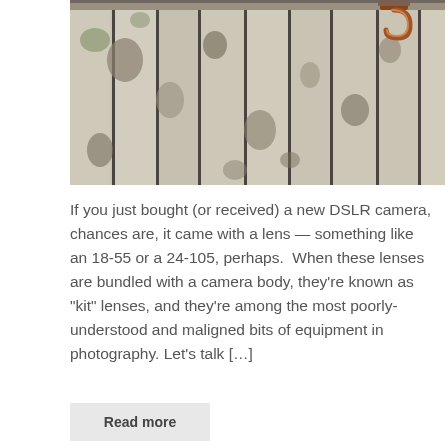[Figure (photo): Close-up photograph of weathered wooden planks with peeling white paint and a rusty metal hook or latch visible in the upper right corner.]
If you just bought (or received) a new DSLR camera, chances are, it came with a lens — something like an 18-55 or a 24-105, perhaps.  When these lenses are bundled with a camera body, they're known as "kit" lenses, and they're among the most poorly-understood and maligned bits of equipment in photography. Let's talk […]
Read more